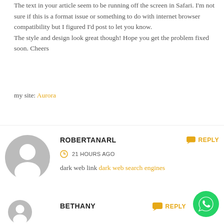The text in your article seem to be running off the screen in Safari. I'm not sure if this is a format issue or something to do with internet browser compatibility but I figured I'd post to let you know.
The style and design look great though! Hope you get the problem fixed soon. Cheers
my site: Aurora
ROBERTANARL
REPLY
21 HOURS AGO
dark web link dark web search engines
[Figure (illustration): Gray user avatar circle icon for ROBERTANARL]
BETHANY
REPLY
[Figure (illustration): Gray user avatar circle icon for BETHANY]
[Figure (illustration): Green WhatsApp button floating bottom right]